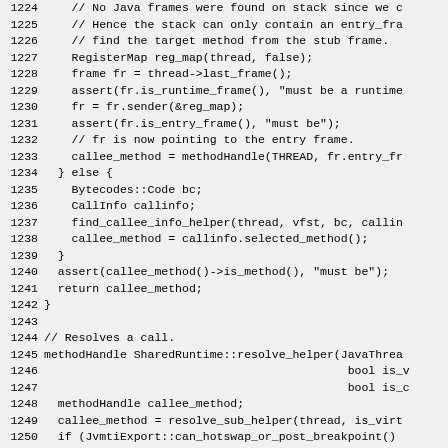[Figure (other): Source code listing lines 1224-1253 in C++, showing Java runtime stack frame resolution and method handle lookup logic]